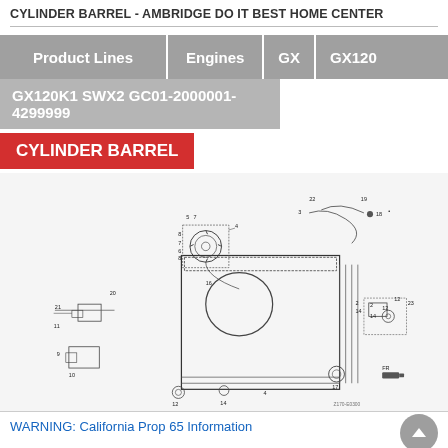CYLINDER BARREL - AMBRIDGE DO IT BEST HOME CENTER
| Product Lines | Engines | GX | GX120 |
| --- | --- | --- | --- |
GX120K1 SWX2 GC01-2000001-4299999
CYLINDER BARREL
[Figure (engineering-diagram): Exploded parts diagram of a Honda GX120 engine cylinder barrel assembly, showing numbered components including the main cylinder block, cooling fins, carburetor parts, valve cover, rocker arms, and various fasteners. Part numbers and callout lines connect numbered bubbles to each component. Diagram reference: Z170-E0300.]
WARNING: California Prop 65 Information